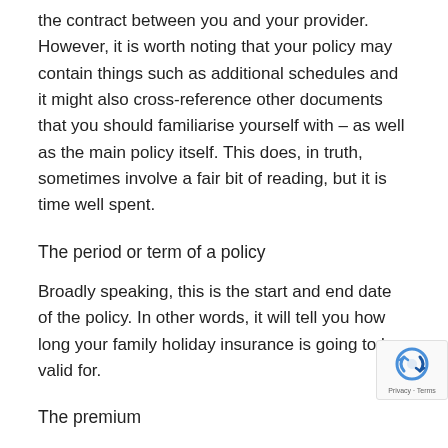the contract between you and your provider. However, it is worth noting that your policy may contain things such as additional schedules and it might also cross-reference other documents that you should familiarise yourself with – as well as the main policy itself. This does, in truth, sometimes involve a fair bit of reading, but it is time well spent.
The period or term of a policy
Broadly speaking, this is the start and end date of the policy. In other words, it will tell you how long your family holiday insurance is going to be valid for.
The premium
This is simply the word the industry uses to describe the